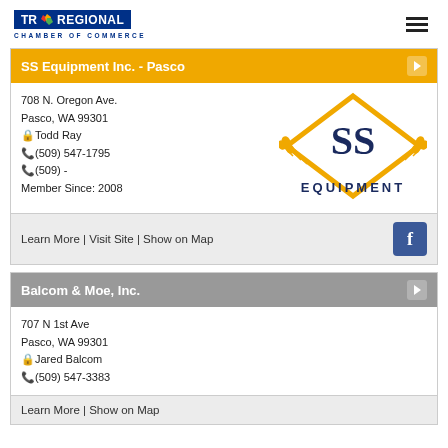[Figure (logo): Tri-City Regional Chamber of Commerce logo]
SS Equipment Inc. - Pasco
708 N. Oregon Ave.
Pasco, WA 99301
Todd Ray
(509) 547-1795
(509) -
Member Since: 2008
[Figure (logo): SS Equipment logo — diamond shape with SS letters and wheat stalks]
Learn More | Visit Site | Show on Map
[Figure (logo): Facebook icon]
Balcom & Moe, Inc.
707 N 1st Ave
Pasco, WA 99301
Jared Balcom
(509) 547-3383
Learn More | Show on Map